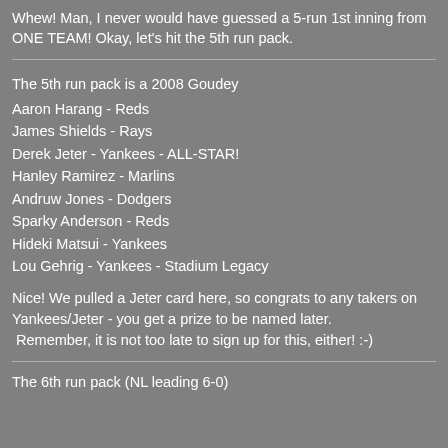Whew! Man, I never would have guessed a 5-run 1st inning from ONE TEAM! Okay, let's hit the 5th run pack.
The 5th run pack is a 2008 Goudey
Aaron Harang - Reds
James Shields - Rays
Derek Jeter - Yankees - ALL-STAR!
Hanley Ramirez - Marlins
Andruw Jones - Dodgers
Sparky Anderson - Reds
Hideki Matsui - Yankees
Lou Gehrig - Yankees - Stadium Legacy
Nice! We pulled a Jeter card here, so congrats to any takers on Yankees/Jeter - you get a prize to be named later.  Remember, it is not too late to sign up for this, either! :-)
The 6th run pack (NL leading 6-0)